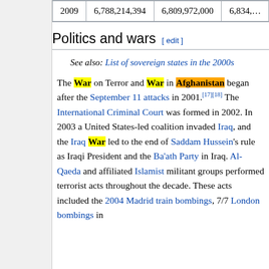| 2009 | 6,788,214,394 | 6,809,972,000 | 6,834,… |
Politics and wars [ edit ]
See also: List of sovereign states in the 2000s
The War on Terror and War in Afghanistan began after the September 11 attacks in 2001.[17][18] The International Criminal Court was formed in 2002. In 2003 a United States-led coalition invaded Iraq, and the Iraq War led to the end of Saddam Hussein's rule as Iraqi President and the Ba'ath Party in Iraq. Al-Qaeda and affiliated Islamist militant groups performed terrorist acts throughout the decade. These acts included the 2004 Madrid train bombings, 7/7 London bombings in